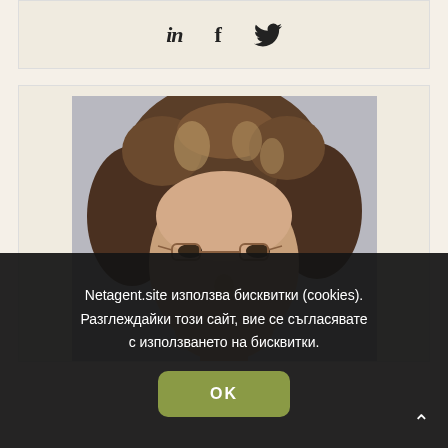[Figure (other): Social media icons bar: LinkedIn (in), Facebook (f), Twitter (bird icon)]
[Figure (photo): Portrait photo of a woman with curly brunette hair and glasses, photographed from mid-face upward]
Netagent.site използва бисквитки (cookies). Разглеждайки този сайт, вие се съгласявате с използването на бисквитки.
OK